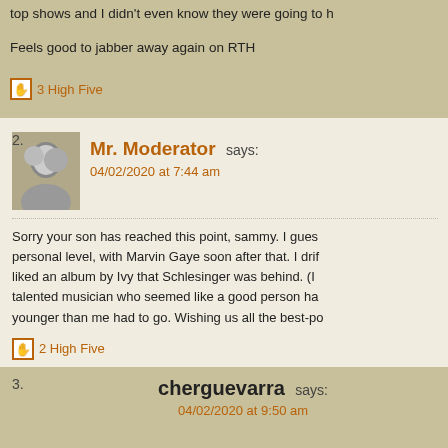top shows and I didn't even know they were going to h
Feels good to jabber away again on RTH
3 High Five
Mr. Moderator says: 04/02/2020 at 7:44 am
Sorry your son has reached this point, sammy. I guess personal level, with Marvin Gaye soon after that. I drif liked an album by Ivy that Schlesinger was behind. (I talented musician who seemed like a good person ha younger than me had to go. Wishing us all the best-po
2 High Five
cherguevarra says: 04/02/2020 at 9:50 am